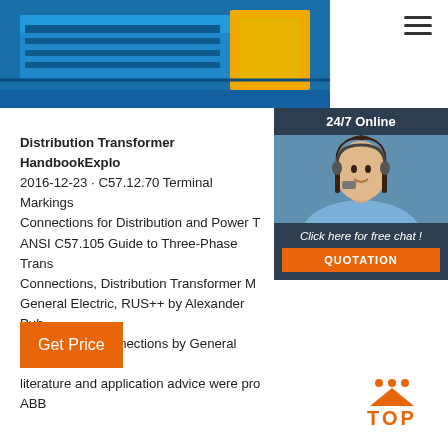[Figure (photo): Partial photo of a blue and yellow/orange distribution transformer or electrical enclosure at the top of the page]
[Figure (photo): 24/7 Online chat widget with a woman wearing a headset, dark background, orange QUOTATION button]
Distribution Transformer HandbookExplored 2016-12-23 · C57.12.70 Terminal Markings and Connections for Distribution and Power T ANSI C57.105 Guide to Three-Phase Trans Connections, Distribution Transformer M General Electric, RUS++ by Alexander Pub Transformer Connections by General Elec literature and application advice were pro ABB
[Figure (other): Orange Get Price button]
[Figure (other): Orange TOP back-to-top button with triangle and dots]